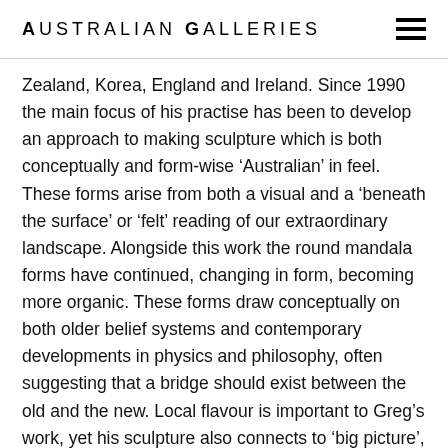Australian Galleries
Zealand, Korea, England and Ireland. Since 1990 the main focus of his practise has been to develop an approach to making sculpture which is both conceptually and form-wise ‘Australian’ in feel. These forms arise from both a visual and a ‘beneath the surface’ or ‘felt’ reading of our extraordinary landscape. Alongside this work the round mandala forms have continued, changing in form, becoming more organic. These forms draw conceptually on both older belief systems and contemporary developments in physics and philosophy, often suggesting that a bridge should exist between the old and the new. Local flavour is important to Greg’s work, yet his sculpture also connects to ‘big picture’, universal themes. Greg works consistently to make a contribution to the development of sculpture in Australia and internationally.